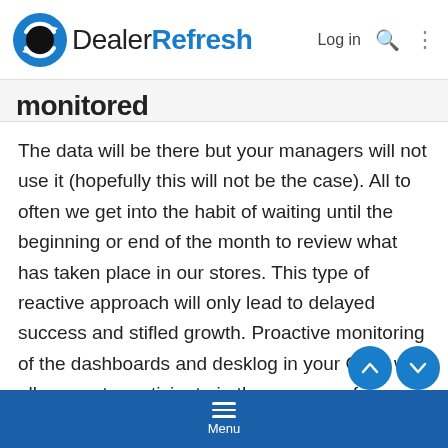DealerRefresh — Log in
monitored
The data will be there but your managers will not use it (hopefully this will not be the case). All to often we get into the habit of waiting until the beginning or end of the month to review what has taken place in our stores. This type of reactive approach will only lead to delayed success and stifled growth. Proactive monitoring of the dashboards and desklog in your CRM will allow you to participate in the success of your salespeople throughout each and every day. This will also minimize your losses when salespeop…
Menu